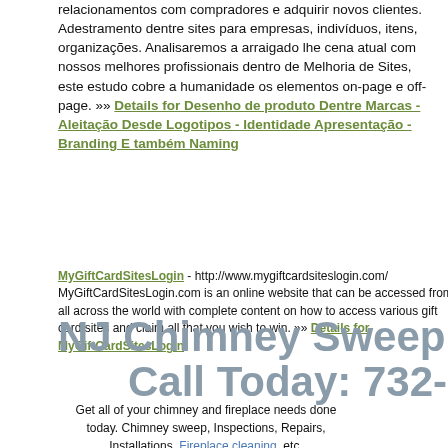relacionamentos com compradores e adquirir novos clientes. Adestramento dentre sites para empresas, indivíduos, itens, organizações. Analisaremos a arraigado lhe cena atual com nossos melhores profissionais dentro de Melhoria de Sites, este estudo cobre a humanidade os elementos on-page e off-page. »» Details for Desenho de produto Dentre Marcas - Aleitação Desde Logotipos - Identidade Apresentação - Branding E também Naming
MyGiftCardSitesLogin - http://www.mygiftcardsiteslogin.com/ MyGiftCardSitesLogin.com is an online website that can be accessed from all across the world with complete content on how to access various gift card sites and claim all that you wish to win. »» Details for MyGiftCardSitesLogin
Total  Previous [1] 2 3 Next
records: 67
NJ Chimney Sweep & Fireplace
Call Today: 732-889-7526
Get all of your chimney and fireplace needs done today. Chimney sweep, Inspections, Repairs, Installations, Fireplace cleaning, etc.